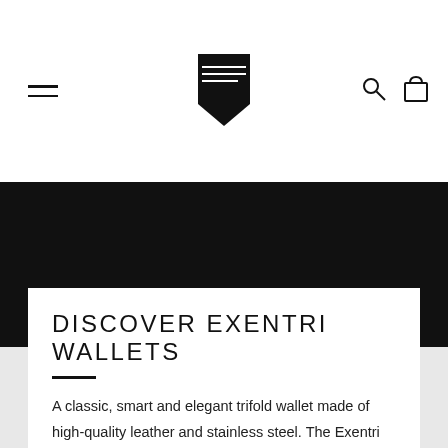[Figure (logo): Exentri logo — stylized angular wallet/arrow shape in black]
DISCOVER EXENTRI WALLETS
A classic, smart and elegant trifold wallet made of high-quality leather and stainless steel. The Exentri Trifold is versatile, attractive, and compact in size.
BUY EXENTRI >